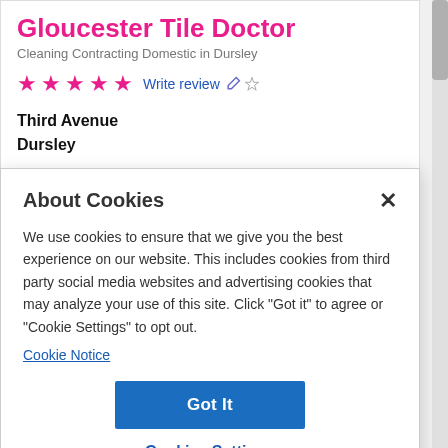Gloucester Tile Doctor
Cleaning Contracting Domestic in Dursley
★ ★ ★ ★ ★  Write review
Third Avenue
Dursley
About Cookies
We use cookies to ensure that we give you the best experience on our website. This includes cookies from third party social media websites and advertising cookies that may analyze your use of this site. Click "Got it" to agree or "Cookie Settings" to opt out.
Cookie Notice
Got It
Cookies Settings